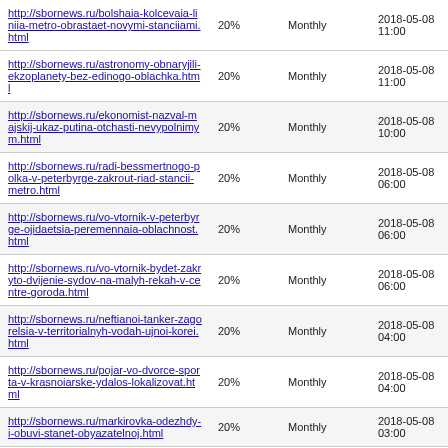| URL | Priority | Change Freq | Last Modified |
| --- | --- | --- | --- |
| http://sbornews.ru/bolshaia-kolcevaia-liniia-metro-obrastaet-novymi-stanciiami.html | 20% | Monthly | 2018-05-08 11:00 |
| http://sbornews.ru/astronomy-obnaryjili-ekzoplanety-bez-edinogo-oblachka.html | 20% | Monthly | 2018-05-08 11:00 |
| http://sbornews.ru/ekonomist-nazval-majskij-ukaz-putina-otchasti-nevypolnimym.html | 20% | Monthly | 2018-05-08 10:00 |
| http://sbornews.ru/radi-bessmertnogo-polka-v-peterbyrge-zakrout-riad-stancii-metro.html | 20% | Monthly | 2018-05-08 06:00 |
| http://sbornews.ru/vo-vtornik-v-peterbyrge-ojidaetsia-peremennaia-oblachnost.html | 20% | Monthly | 2018-05-08 06:00 |
| http://sbornews.ru/vo-vtornik-bydet-zakryto-dvijenie-sydov-na-malyh-rekah-v-centre-goroda.html | 20% | Monthly | 2018-05-08 06:00 |
| http://sbornews.ru/neftianoi-tanker-zagorelsia-v-territorialnyh-vodah-ujnoi-korei.html | 20% | Monthly | 2018-05-08 04:00 |
| http://sbornews.ru/pojar-vo-dvorce-sporta-v-krasnoiarske-ydalos-lokalizovat.html | 20% | Monthly | 2018-05-08 04:00 |
| http://sbornews.ru/markirovka-odezhdy-i-obuvi-stanet-obyazatelnoj.html | 20% | Monthly | 2018-05-08 03:00 |
| http://sbornews.ru/rossiyane-pogryazli-v-dolgax-eksperty-nazvali- | 20% | Monthly | 2018-05-08 |